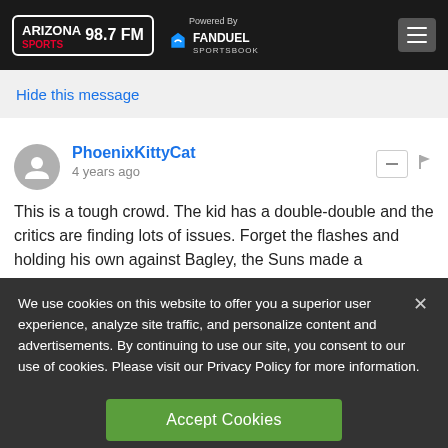Arizona Sports 98.7 FM — Powered By FanDuel Sportsbook
Hide this message
PhoenixKittyCat
4 years ago
This is a tough crowd. The kid has a double-double and the critics are finding lots of issues. Forget the flashes and holding his own against Bagley, the Suns made a
We use cookies on this website to offer you a superior user experience, analyze site traffic, and personalize content and advertisements. By continuing to use our site, you consent to our use of cookies. Please visit our Privacy Policy for more information.
Accept Cookies